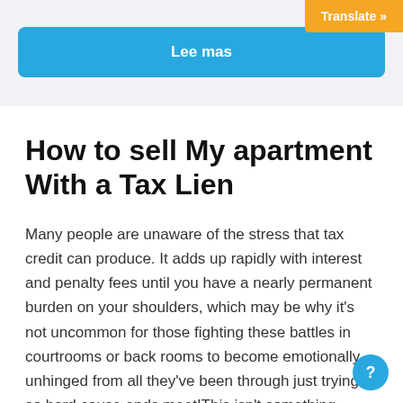Translate »
Lee mas
How to sell My apartment With a Tax Lien
Many people are unaware of the stress that tax credit can produce. It adds up rapidly with interest and penalty fees until you have a nearly permanent burden on your shoulders, which may be why it's not uncommon for those fighting these battles in courtrooms or back rooms to become emotionally unhinged from all they've been through just trying so hard cause ends meet!This isn't something anyone wants...